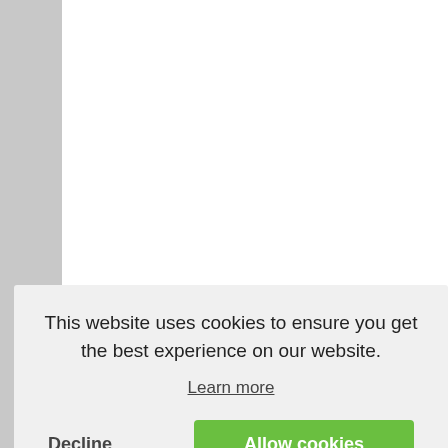4.3 KB
[Figure (screenshot): File icon for multisession2.webp]
multisession2.webp
2013/04/01 20:29
3.5 KB
[Figure (screenshot): Thumbnail of nav_drive_explr.png showing a Windows Explorer window with an Audio CD]
nav_drive_explr.png
258×156
2011/05/18 19:19
.webp
9
2011/05/18 19:19
This website uses cookies to ensure you get the best experience on our website.
Learn more
Decline
Allow cookies